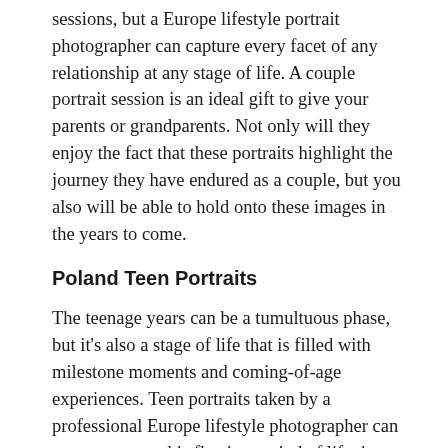sessions, but a Europe lifestyle portrait photographer can capture every facet of any relationship at any stage of life. A couple portrait session is an ideal gift to give your parents or grandparents. Not only will they enjoy the fact that these portraits highlight the journey they have endured as a couple, but you also will be able to hold onto these images in the years to come.
Poland Teen Portraits
The teenage years can be a tumultuous phase, but it's also a stage of life that is filled with milestone moments and coming-of-age experiences. Teen portraits taken by a professional Europe lifestyle photographer can commemorate this fleeting period of life, in which it seems like each day moves faster than the last. If your teen leads an active lifestyle, a lifestyle photographer can take action portraits of them enjoying their favorite sport. In addition, a teen